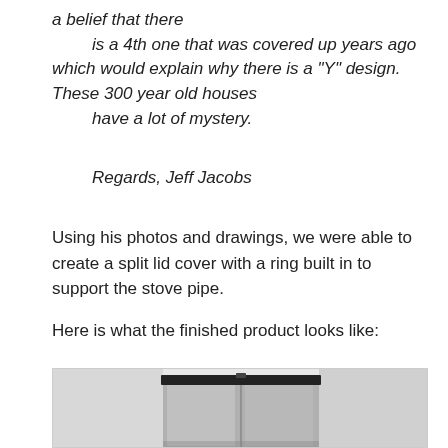a belief that there
    is a 4th one that was covered up years ago which would explain why there is a "Y" design. These 300 year old houses
    have a lot of mystery.
Regards, Jeff Jacobs
Using his photos and drawings, we were able to create a split lid cover with a ring built in to support the stove pipe.
Here is what the finished product looks like:
[Figure (photo): Photo of a finished split lid stove pipe cover product, shown in gray/silver tones with a black top piece, mounted or placed against a white background.]